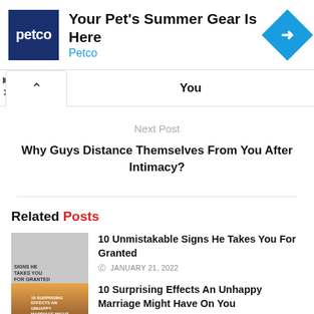[Figure (other): Petco advertisement banner with blue logo, headline 'Your Pet's Summer Gear Is Here', subtext 'Petco', and blue diamond navigation icon]
You
Next Post
Why Guys Distance Themselves From You After Intimacy?
Related Posts
[Figure (photo): Thumbnail image with text '10 SIGNS HE TAKES YOU FOR GRANTED' over a grey background with a person figure]
10 Unmistakable Signs He Takes You For Granted
JANUARY 21, 2022
[Figure (photo): Thumbnail image with text '10 SURPRISING EFFECTS AN UNHAPPY MARRIAGE MIGHT HAVE ON YOU' over warm gradient background with silhouettes]
10 Surprising Effects An Unhappy Marriage Might Have On You